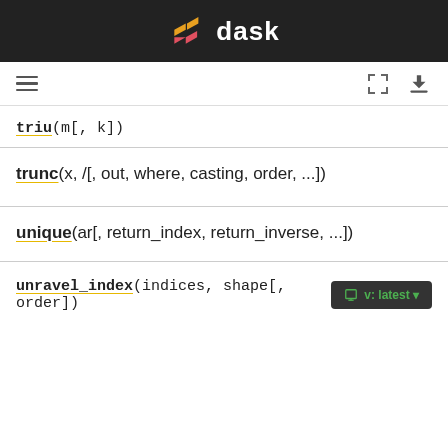dask
triu(m[, k])
trunc(x, /[, out, where, casting, order, ...])
unique(ar[, return_index, return_inverse, ...])
unravel_index(indices, shape[, order])